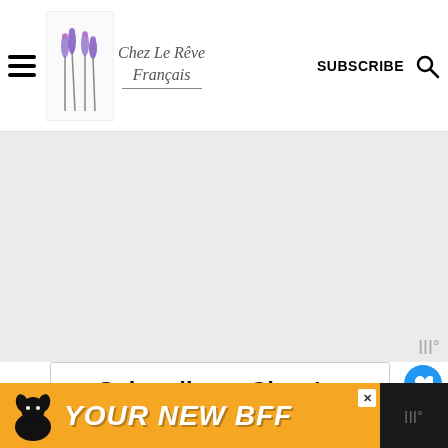Chez Le Rêve Français — SUBSCRIBE
[Figure (screenshot): Gray advertisement placeholder area with watermark icon bottom right]
Subscribe to Chez Le Reve Francais and get my Free ebook of French recipes!
Get updates on the latest posts and more from Chez Le Reve Francais
[Figure (infographic): YOUR NEW BFF advertisement banner with dog silhouette on orange background]